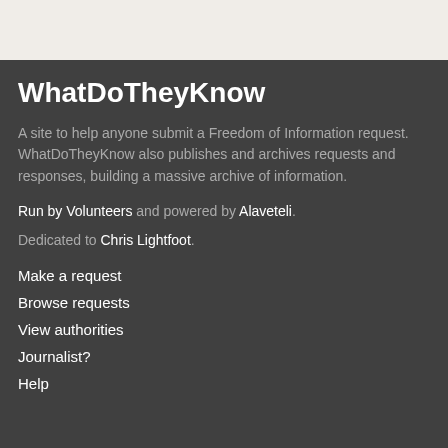WhatDoTheyKnow
A site to help anyone submit a Freedom of Information request. WhatDoTheyKnow also publishes and archives requests and responses, building a massive archive of information.
Run by Volunteers and powered by Alaveteli.
Dedicated to Chris Lightfoot.
Make a request
Browse requests
View authorities
Journalist?
Help